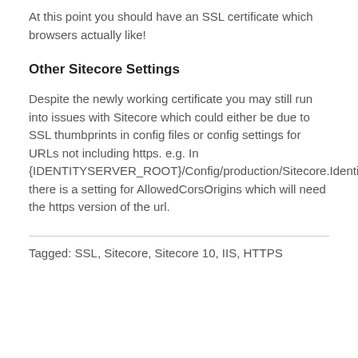At this point you should have an SSL certificate which browsers actually like!
Other Sitecore Settings
Despite the newly working certificate you may still run into issues with Sitecore which could either be due to SSL thumbprints in config files or config settings for URLs not including https. e.g. In {IDENTITYSERVER_ROOT}/Config/production/Sitecore.IdentityServer.Host.xml there is a setting for AllowedCorsOrigins which will need the https version of the url.
Tagged: SSL, Sitecore, Sitecore 10, IIS, HTTPS